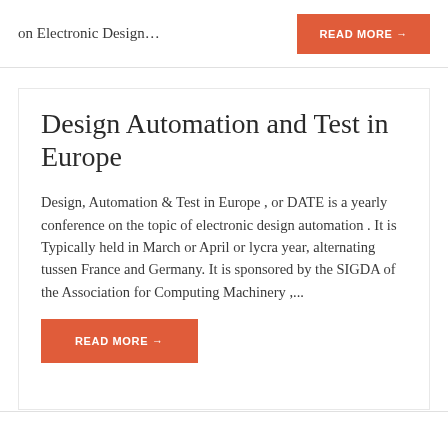on Electronic Design…
READ MORE →
Design Automation and Test in Europe
Design, Automation & Test in Europe , or DATE is a yearly conference on the topic of electronic design automation . It is Typically held in March or April or lycra year, alternating tussen France and Germany. It is sponsored by the SIGDA of the Association for Computing Machinery ,...
READ MORE →